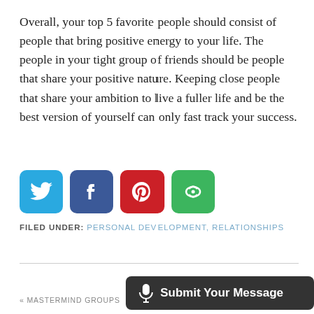Overall, your top 5 favorite people should consist of people that bring positive energy to your life. The people in your tight group of friends should be people that share your positive nature. Keeping close people that share your ambition to live a fuller life and be the best version of yourself can only fast track your success.
[Figure (other): Social sharing icons: Twitter (blue), Facebook (dark blue), Pinterest (red), More/share (green)]
FILED UNDER: PERSONAL DEVELOPMENT, RELATIONSHIPS
« MASTERMIND GROUPS
[Figure (other): Dark submit bar with microphone icon and text 'Submit Your Message']